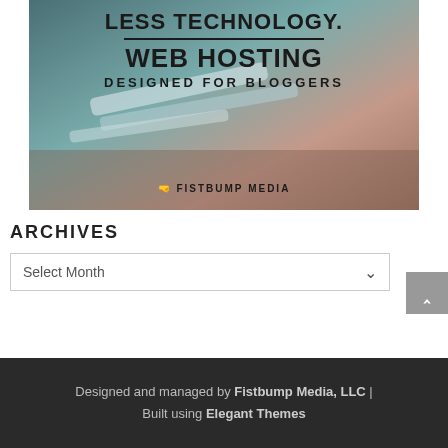[Figure (photo): Advertisement image for web hosting designed for bloggers by Fistbump Media. Background shows blurred pens on a desk with teal/warm tones. Text overlaid reads: LESS TECHNOLOGY. WEB HOSTING DESIGNED FOR BLOGGERS. FISTBUMP MEDIA logo at bottom.]
ARCHIVES
Select Month
Designed and managed by Fistbump Media, LLC | Built using Elegant Themes